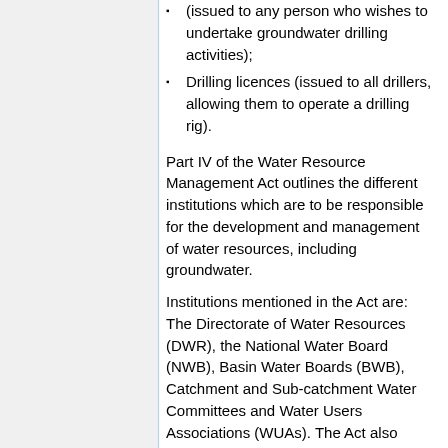(issued to any person who wishes to undertake groundwater drilling activities);
Drilling licences (issued to all drillers, allowing them to operate a drilling rig).
Part IV of the Water Resource Management Act outlines the different institutions which are to be responsible for the development and management of water resources, including groundwater.
Institutions mentioned in the Act are: The Directorate of Water Resources (DWR), the National Water Board (NWB), Basin Water Boards (BWB), Catchment and Sub-catchment Water Committees and Water Users Associations (WUAs). The Act also specifies the duties and responsibilities of these institutions.
Other key institutions and organisations are:
The Ministry of Water –